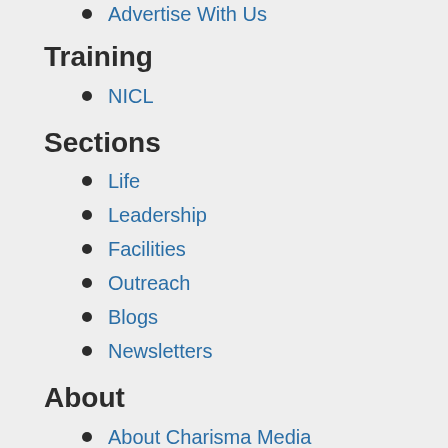Advertise With Us
Training
NICL
Sections
Life
Leadership
Facilities
Outreach
Blogs
Newsletters
About
About Charisma Media
About Charisma Leader
Meet the Editors